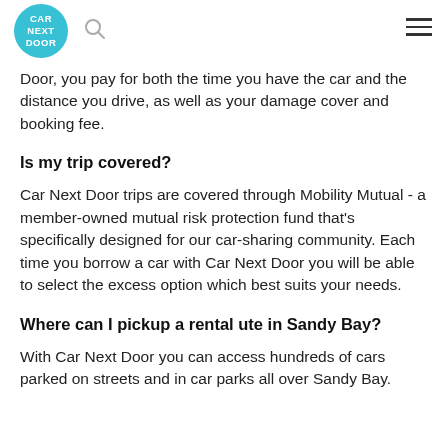CAR NEXT DOOR
Door, you pay for both the time you have the car and the distance you drive, as well as your damage cover and booking fee.
Is my trip covered?
Car Next Door trips are covered through Mobility Mutual - a member-owned mutual risk protection fund that's specifically designed for our car-sharing community. Each time you borrow a car with Car Next Door you will be able to select the excess option which best suits your needs.
Where can I pickup a rental ute in Sandy Bay?
With Car Next Door you can access hundreds of cars parked on streets and in car parks all over Sandy Bay.